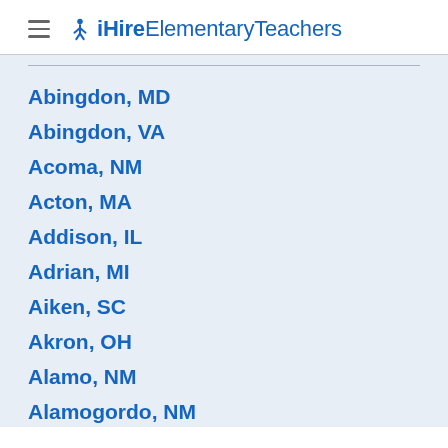iHireElementaryTeachers
Abingdon, MD
Abingdon, VA
Acoma, NM
Acton, MA
Addison, IL
Adrian, MI
Aiken, SC
Akron, OH
Alamo, NM
Alamogordo, NM
Albany, NY